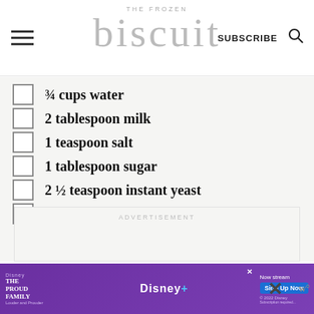THE FROZEN biscuit | SUBSCRIBE
¾ cups water
2 tablespoon milk
1 teaspoon salt
1 tablespoon sugar
2 ½ teaspoon instant yeast
3 tablespoon butter
ADVERTISEMENT
[Figure (screenshot): Disney+ The Proud Family advertisement banner at the bottom of the page with 'Now stream', 'Sign Up Now' button, and close button.]